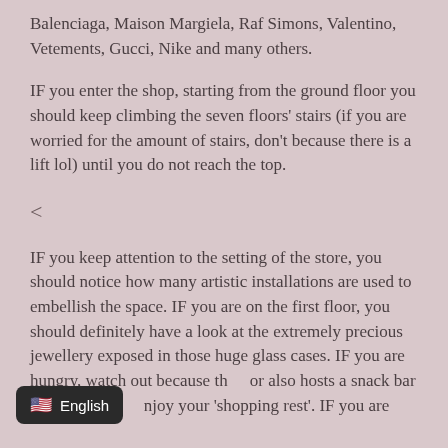Balenciaga, Maison Margiela, Raf Simons, Valentino, Vetements, Gucci, Nike and many others.
IF you enter the shop, starting from the ground floor you should keep climbing the seven floors' stairs (if you are worried for the amount of stairs, don't because there is a lift lol) until you do not reach the top.
<
IF you keep attention to the setting of the store, you should notice how many artistic installations are used to embellish the space. IF you are on the first floor, you should definitely have a look at the extremely precious jewellery exposed in those huge glass cases. IF you are hungry, watch out because the floor also hosts a snack bar where you will enjoy your 'shopping rest'. IF you are